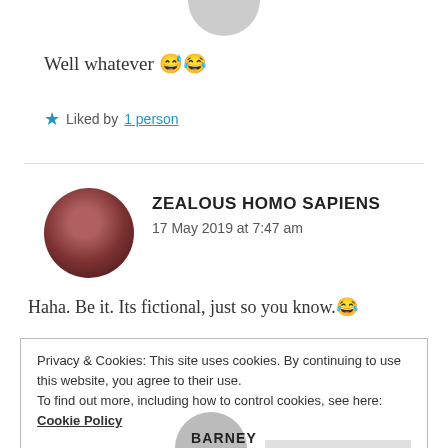[Figure (photo): Partially visible circular avatar at top center, gray color, cropped]
Well whatever 😅😂
★ Liked by 1 person
[Figure (photo): Circular profile photo of a person with dark reddish-brown tones, blog commenter avatar]
ZEALOUS HOMO SAPIENS
17 May 2019 at 7:47 am
Haha. Be it. Its fictional, just so you know.😂
Privacy & Cookies: This site uses cookies. By continuing to use this website, you agree to their use.
To find out more, including how to control cookies, see here: Cookie Policy
[Close and accept button]
BARNEY